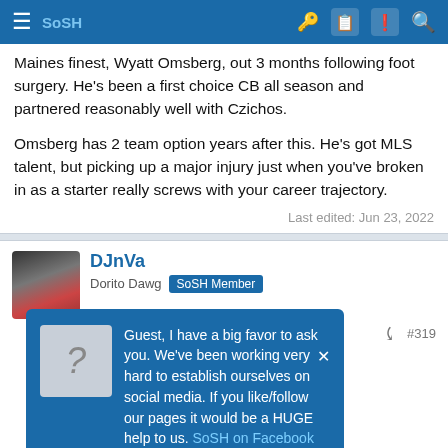SoSH
Maines finest, Wyatt Omsberg, out 3 months following foot surgery. He's been a first choice CB all season and partnered reasonably well with Czichos.
Omsberg has 2 team option years after this. He's got MLS talent, but picking up a major injury just when you've broken in as a starter really screws with your career trajectory.
Last edited: Jun 23, 2022
DJnVa
Dorito Dawg  SoSH Member
Guest, I have a big favor to ask you. We've been working very hard to establish ourselves on social media. If you like/follow our pages it would be a HUGE help to us. SoSH on Facebook and Inside the Pylon Thanks! Nip
#319
post-Domer  SoSH Member